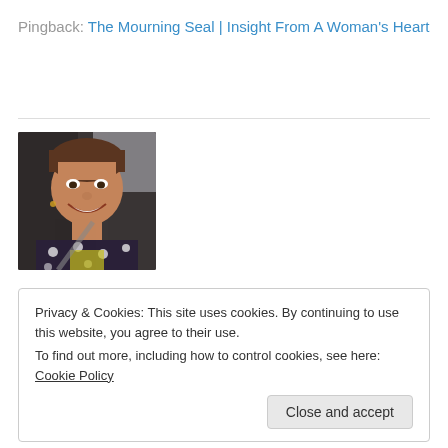Pingback: The Mourning Seal | Insight From A Woman's Heart
[Figure (photo): Portrait photo of a smiling woman with short brown hair, sitting in a car, wearing a polka-dot top and yellow shirt]
Privacy & Cookies: This site uses cookies. By continuing to use this website, you agree to their use.
To find out more, including how to control cookies, see here: Cookie Policy
Close and accept